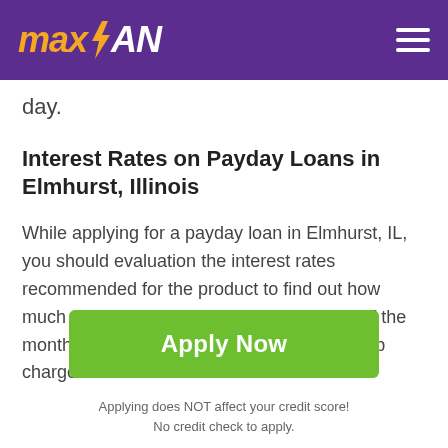maxLOAN
day.
Interest Rates on Payday Loans in Elmhurst, Illinois
While applying for a payday loan in Elmhurst, IL, you should evaluation the interest rates recommended for the product to find out how much youll are obligated to pay at the end of the month. On average, payday loans on the web charge a month to month interest of 15% to
[Figure (other): Green 'Apply Now' button]
Applying does NOT affect your credit score!
No credit check to apply.